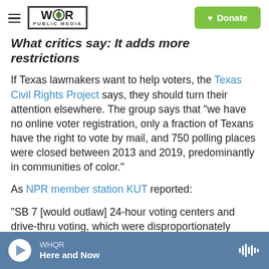WHQR PUBLIC MEDIA | Donate
What critics say: It adds more restrictions
If Texas lawmakers want to help voters, the Texas Civil Rights Project says, they should turn their attention elsewhere. The group says that "we have no online voter registration, only a fraction of Texans have the right to vote by mail, and 750 polling places were closed between 2013 and 2019, predominantly in communities of color."
As NPR member station KUT reported:
"SB 7 [would outlaw] 24-hour voting centers and drive-thru voting, which were disproportionately
WHQR | Here and Now